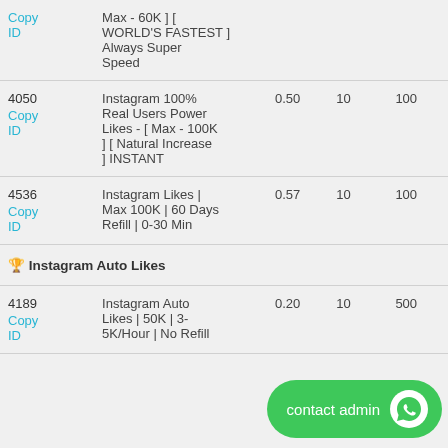| ID | Description | Rate | Min | Max |
| --- | --- | --- | --- | --- |
|  | Max - 60K ] [ WORLD'S FASTEST ] Always Super Speed |  |  |  |
| 4050
Copy ID | Instagram 100% Real Users Power Likes - [ Max - 100K ] [ Natural Increase ] INSTANT | 0.50 | 10 | 100 |
| 4536
Copy ID | Instagram Likes | Max 100K | 60 Days Refill | 0-30 Min | 0.57 | 10 | 100 |
| 4189
Copy ID | Instagram Auto Likes | 50K | 3-5K/Hour | No Refill | 0.20 | 10 | 500 |
🏆 Instagram Auto Likes